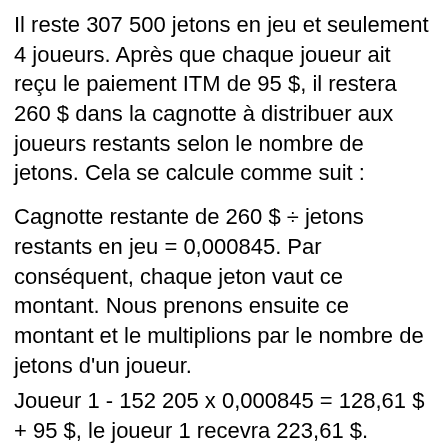Il reste 307 500 jetons en jeu et seulement 4 joueurs. Après que chaque joueur ait reçu le paiement ITM de 95 $, il restera 260 $ dans la cagnotte à distribuer aux joueurs restants selon le nombre de jetons. Cela se calcule comme suit :
Cagnotte restante de 260 $ ÷ jetons restants en jeu = 0,000845. Par conséquent, chaque jeton vaut ce montant. Nous prenons ensuite ce montant et le multiplions par le nombre de jetons d'un joueur.
Joueur 1 - 152 205 x 0,000845 = 128,61 $ + 95 $, le joueur 1 recevra 223,61 $.
Joueur 2 - 82 873 x 0,000845 = 70,03 $ + 95 $, le joueur 2 recevra 165,03 $.
Joueur 3 - 45 500 x 0,000845 = 38,45 $ + 95 $, le joueur 3 recevra 133,45 $.